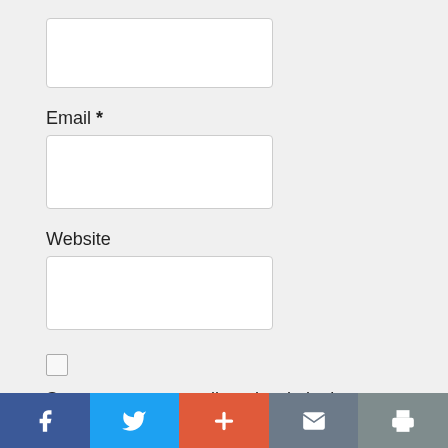[Figure (screenshot): Empty text input field (top, partially visible)]
Email *
[Figure (screenshot): Empty email input field]
Website
[Figure (screenshot): Empty website input field]
[Figure (screenshot): Unchecked checkbox]
Save my name, email, and website in this browser for the next time I comment.
[Figure (infographic): Social sharing bar with Facebook, Twitter, Plus, Email, and Print buttons]